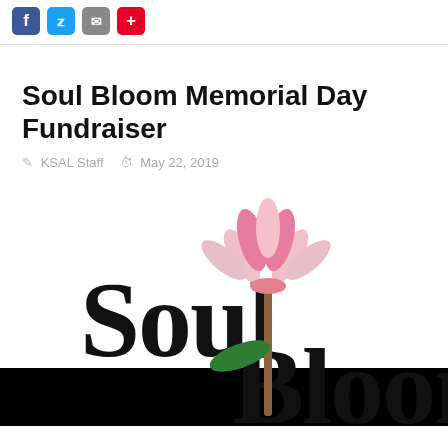Social share icons: Facebook, Twitter, Email, Plus
Soul Bloom Memorial Day Fundraiser
KSAL Staff   May 22, 2019
[Figure (logo): Soul Bloom logo with serif 'Soul Bloom' text and a pink lotus flower on a green stem with a leaf]